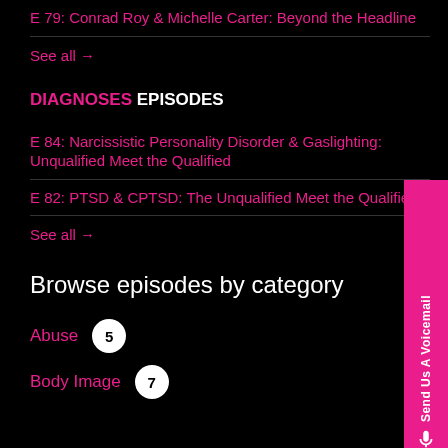E 79: Conrad Roy & Michelle Carter: Beyond the Headline
See all →
DIAGNOSES EPISODES
E 84: Narcissistic Personality Disorder & Gaslighting: Unqualified Meet the Qualified
E 82: PTSD & CPTSD: The Unqualified Meet the Qualified
See all →
Browse episodes by category
Abuse 5
Body Image 7